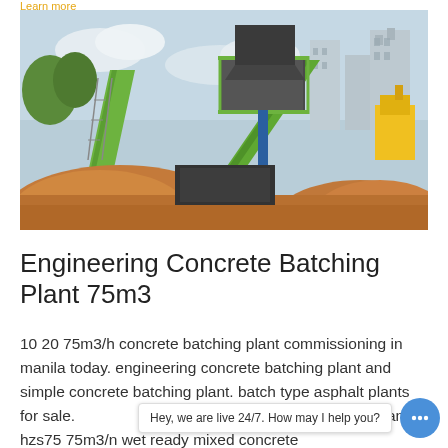Learn more
[Figure (photo): Photograph of a concrete batching plant / aggregate processing equipment with green conveyor belts, large piles of sand and gravel, urban buildings in the background.]
Engineering Concrete Batching Plant 75m3
10 20 75m3/h concrete batching plant commissioning in manila today. engineering concrete batching plant and simple concrete batching plant. batch type asphalt plants for sale. ... batching plant hzs75 75m3/n wet ready mixed concrete